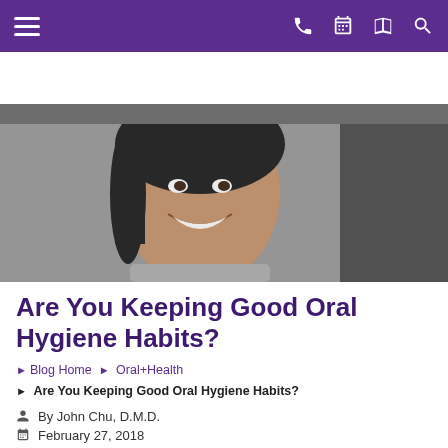Navigation bar with hamburger menu and icons (phone, calendar, map, search)
John Chu, D.M.D.
[Figure (photo): Photo of a smiling woman with dark hair, wearing a patterned blouse, posed against a neutral background.]
Are You Keeping Good Oral Hygiene Habits?
Blog Home ▶ Oral+Health
▶ Are You Keeping Good Oral Hygiene Habits?
By John Chu, D.M.D.
February 27, 2018
Category: Oral Health